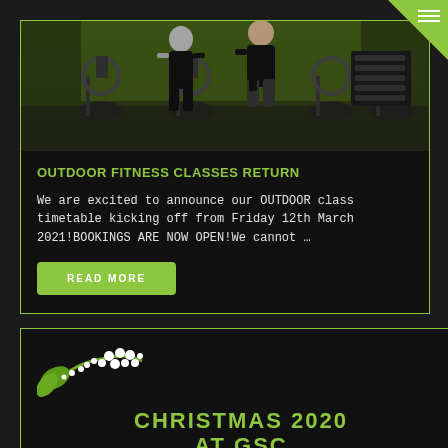[Figure (photo): Gym photo showing people on spin bikes in a fitness class, green-walled gym environment]
OUTDOOR FITNESS CLASSES RETURN
We are excited to announce our OUTDOOR class timetable kicking off from Friday 12th March 2021!BOOKINGS ARE NOW OPEN!We cannot …
READ MORE
[Figure (illustration): Holly/mistletoe decorative icon in green with white berries]
CHRISTMAS 2020 AT GSC